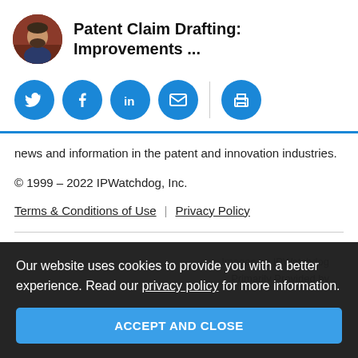Patent Claim Drafting: Improvements ...
[Figure (illustration): Circular avatar photo of a man in a suit, against a brick background]
[Figure (infographic): Social media share icons: Twitter, Facebook, LinkedIn, Email, Print — blue circular buttons]
news and information in the patent and innovation industries.
© 1999 – 2022 IPWatchdog, Inc.
Terms & Conditions of Use | Privacy Policy
Images on IPWatchdog Primarily Provided by
Our website uses cookies to provide you with a better experience. Read our privacy policy for more information.
ACCEPT AND CLOSE